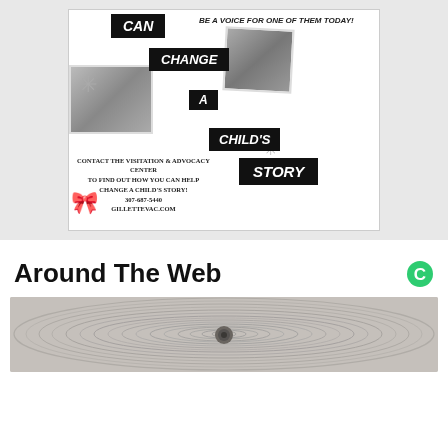[Figure (infographic): Black and white poster for Visitation & Advocacy Center. Shows chalk-board style label tags spelling out 'CAN CHANGE A CHILD'S STORY' with photos of children, a ribbon icon, and contact information: CONTACT THE VISITATION & ADVOCACY CENTER TO FIND OUT HOW YOU CAN HELP CHANGE A CHILD'S STORY! 307-687-5440 GILLETTEVAC.COM. Top reads: BE A VOICE FOR ONE OF THEM TODAY!]
Around The Web
[Figure (photo): A wide banner photo showing concentric circular wood or rope grain pattern in grayscale, with a dark round object (possibly a bolt or nut) visible at the center.]